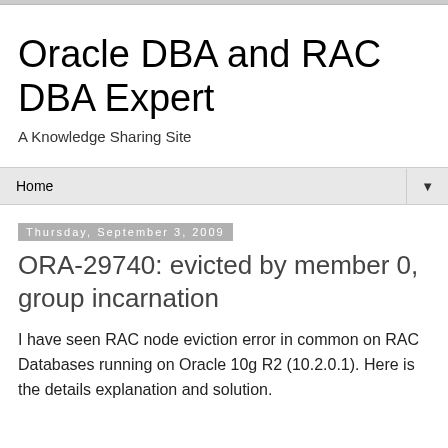Oracle DBA and RAC DBA Expert
A Knowledge Sharing Site
Home
Thursday, September 3, 2009
ORA-29740: evicted by member 0, group incarnation
I have seen RAC node eviction error in common on RAC Databases running on Oracle 10g R2 (10.2.0.1). Here is the details explanation and solution.